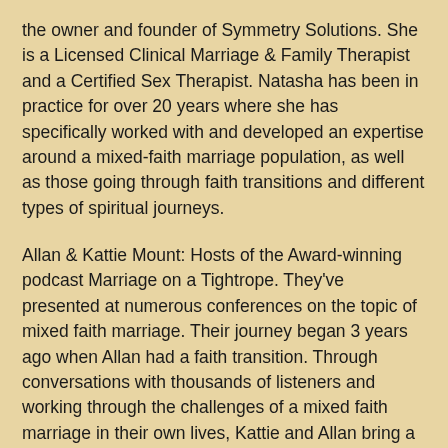the owner and founder of Symmetry Solutions. She is a Licensed Clinical Marriage & Family Therapist and a Certified Sex Therapist. Natasha has been in practice for over 20 years where she has specifically worked with and developed an expertise around a mixed-faith marriage population, as well as those going through faith transitions and different types of spiritual journeys.
Allan & Kattie Mount: Hosts of the Award-winning podcast Marriage on a Tightrope. They've presented at numerous conferences on the topic of mixed faith marriage. Their journey began 3 years ago when Allan had a faith transition. Through conversations with thousands of listeners and working through the challenges of a mixed faith marriage in their own lives, Kattie and Allan bring a unique skillset to this course. They will give you practical ways they've applied clinical knowledge in fortifying their marriage. Kattie also practices as a Life Coach with Symmetry Sols specializing in mixed faith marriage.